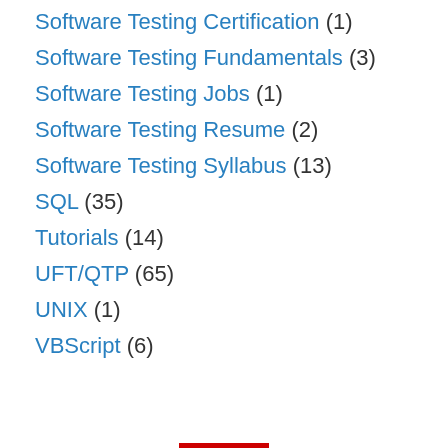Software Testing Certification (1)
Software Testing Fundamentals (3)
Software Testing Jobs (1)
Software Testing Resume (2)
Software Testing Syllabus (13)
SQL (35)
Tutorials (14)
UFT/QTP (65)
UNIX (1)
VBScript (6)